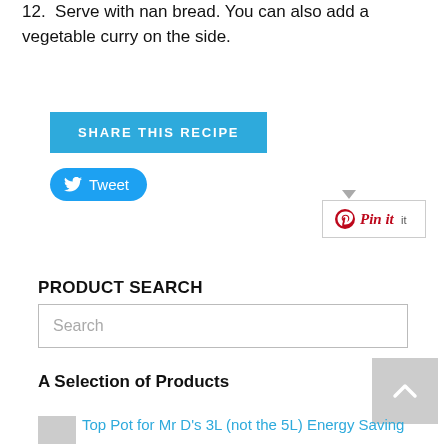12. Serve with nan bread. You can also add a vegetable curry on the side.
[Figure (other): Blue 'SHARE THIS RECIPE' button]
[Figure (other): Twitter 'Tweet' button with bird icon]
[Figure (other): Pinterest 'Pin it' button with dropdown arrow]
PRODUCT SEARCH
[Figure (other): Search input box with placeholder text 'Search']
A Selection of Products
[Figure (other): Scroll-to-top button (grey square with up chevron)]
Top Pot for Mr D's 3L (not the 5L) Energy Saving